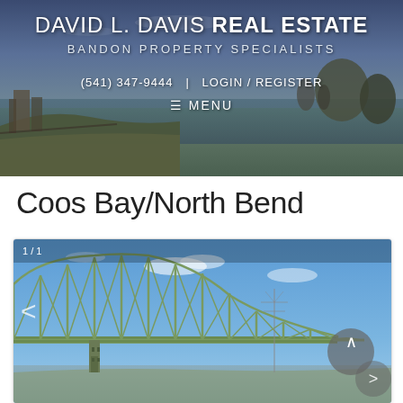DAVID L. DAVIS REAL ESTATE
BANDON PROPERTY SPECIALISTS
(541) 347-9444  |  LOGIN / REGISTER
≡ MENU
Coos Bay/North Bend
[Figure (photo): Photo of a large green steel truss bridge (McCullough Memorial Bridge) against a blue sky with light clouds, with water visible below. Image shows slide counter '1 / 1' in top left corner and navigation arrows on left and right sides.]